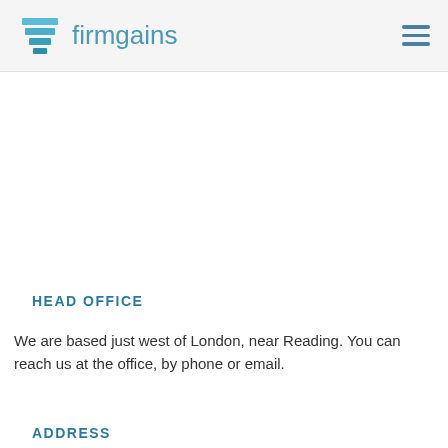firmgains
HEAD OFFICE
We are based just west of London, near Reading. You can reach us at the office, by phone or email.
ADDRESS
First Floor, 5 Fortuna Court, Calleva Park, Reading, RG7